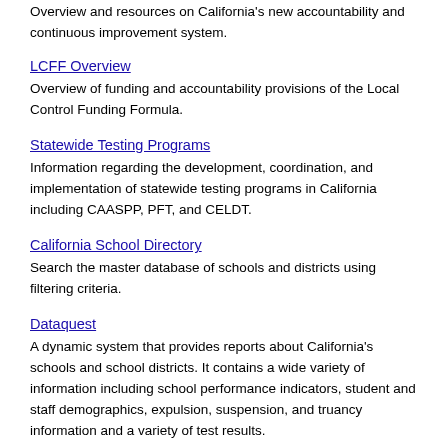Overview and resources on California's new accountability and continuous improvement system.
LCFF Overview
Overview of funding and accountability provisions of the Local Control Funding Formula.
Statewide Testing Programs
Information regarding the development, coordination, and implementation of statewide testing programs in California including CAASPP, PFT, and CELDT.
California School Directory
Search the master database of schools and districts using filtering criteria.
Dataquest
A dynamic system that provides reports about California's schools and school districts. It contains a wide variety of information including school performance indicators, student and staff demographics, expulsion, suspension, and truancy information and a variety of test results.